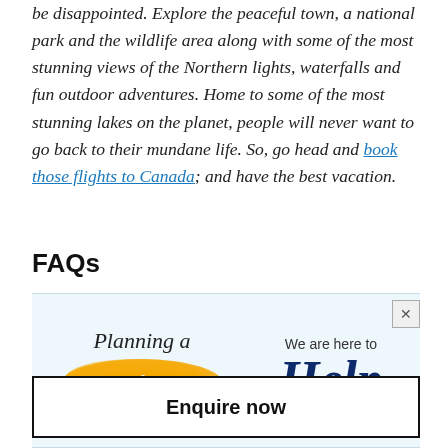be disappointed. Explore the peaceful town, a national park and the wildlife area along with some of the most stunning views of the Northern lights, waterfalls and fun outdoor adventures. Home to some of the most stunning lakes on the planet, people will never want to go back to their mundane life. So, go head and book those flights to Canada; and have the best vacation.
FAQs
[Figure (infographic): Advertisement banner with light blue background. Left side shows cursive text 'Planning a' above an orange blob graphic with white italic text 'Trip?'. Right side shows 'We are here to' above large dark blue italic text 'Help'. Close button (X) in top right corner.]
Enquire now